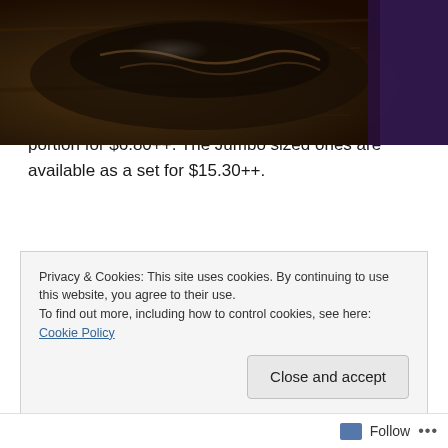[Figure (photo): Top portion of a food photo showing a dark bowl or plate, likely containing noodles, on a wooden surface. Dark and moody lighting with purple/dark overlay on the right side with partial text visible.]
Okinawan Noodles with Pork Belly – $8.80++
Small eaters can opt for a bowl of noodles. This is the medium sized one and there's an even smaller portion for $6.80++. The Jumbo sized ones are available as a set for $15.30++.
Privacy & Cookies: This site uses cookies. By continuing to use this website, you agree to their use.
To find out more, including how to control cookies, see here: Cookie Policy
Close and accept
Follow ...